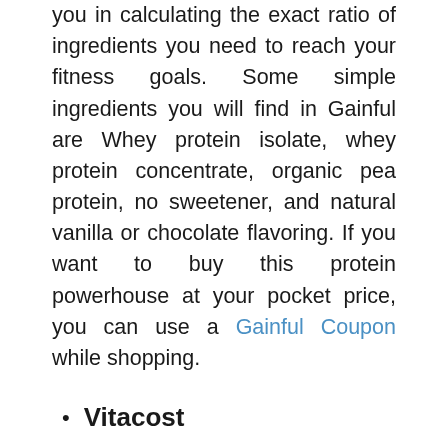you in calculating the exact ratio of ingredients you need to reach your fitness goals. Some simple ingredients you will find in Gainful are Whey protein isolate, whey protein concentrate, organic pea protein, no sweetener, and natural vanilla or chocolate flavoring. If you want to buy this protein powerhouse at your pocket price, you can use a Gainful Coupon while shopping.
Vitacost
At Vitacost, you can get non-GMO, easy to digest, or gluten-free protein powder. For those who are not into whey protein or any kind of dairy or animal ingredients, Vitacost provide